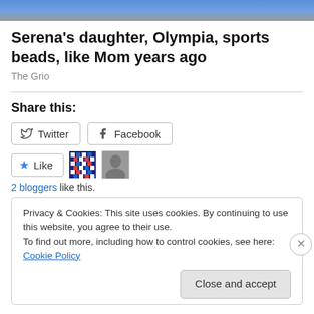[Figure (photo): Top portion of a photo showing a person, cropped at top of page]
Serena's daughter, Olympia, sports beads, like Mom years ago
The Grio
Share this:
Twitter  Facebook
Like  [pixel avatar] [photo avatar]
2 bloggers like this.
Privacy & Cookies: This site uses cookies. By continuing to use this website, you agree to their use.
To find out more, including how to control cookies, see here: Cookie Policy
Close and accept